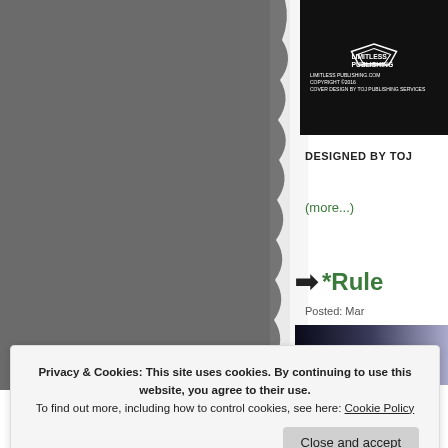[Figure (photo): Dark gray textured background image occupying the left portion of the page, torn/irregular right edge effect]
[Figure (logo): Limitless Publishing logo in white on black background, with text 'LIMITLESS PUBLISHING', 'LIMITLESS-PUBLISHING.COM', copyright info, and 'COVER DESIGN BY TOJ PUBLISHING SERVICES']
DESIGNED BY TOJ
(more...)
*Rule
Posted: Mar
[Figure (photo): Partial dark blue to gray gradient image in the bottom right sidebar area]
Privacy & Cookies: This site uses cookies. By continuing to use this website, you agree to their use.
To find out more, including how to control cookies, see here: Cookie Policy
Close and accept